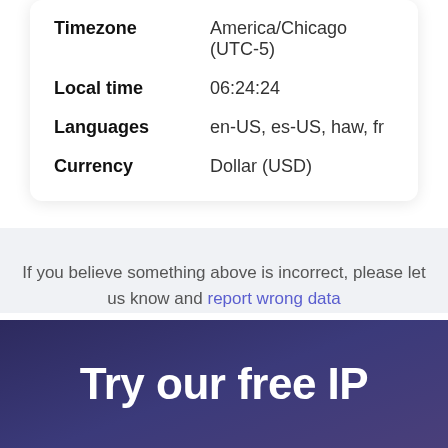| Field | Value |
| --- | --- |
| Timezone | America/Chicago (UTC-5) |
| Local time | 06:24:24 |
| Languages | en-US, es-US, haw, fr |
| Currency | Dollar (USD) |
If you believe something above is incorrect, please let us know and report wrong data
Try our free IP